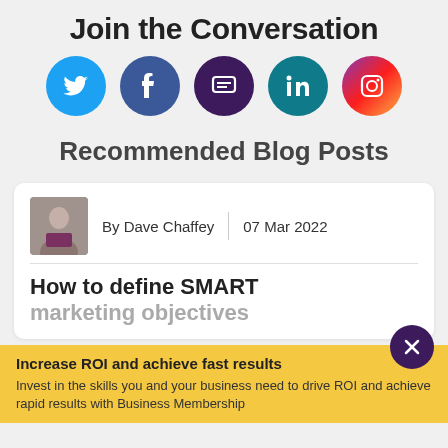Join the Conversation
[Figure (infographic): Five social media icons in circles: Twitter (blue), Facebook (dark blue), Chat/message (dark purple), LinkedIn (teal), Instagram (gradient purple-orange)]
Recommended Blog Posts
[Figure (infographic): Blog post card with author photo of Dave Chaffey, date 07 Mar 2022, and post title 'How to define SMART marketing objectives']
Increase ROI and achieve fast results
Invest in the skills you and your business need to drive ROI and achieve rapid results with Business Membership